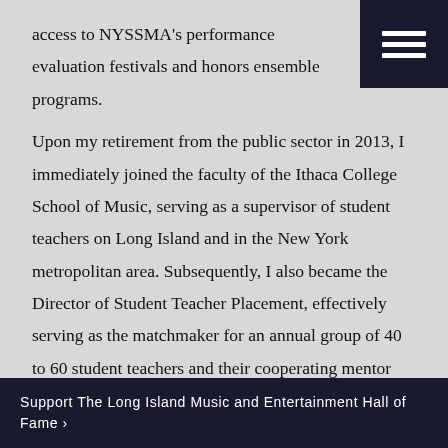access to NYSSMA's performance evaluation festivals and honors ensemble programs.
Upon my retirement from the public sector in 2013, I immediately joined the faculty of the Ithaca College School of Music, serving as a supervisor of student teachers on Long Island and in the New York metropolitan area. Subsequently, I also became the Director of Student Teacher Placement, effectively serving as the matchmaker for an annual group of 40 to 60 student teachers and their cooperating mentor teachers and school districts ranging throughout the
Support The Long Island Music and Entertainment Hall of Fame ›